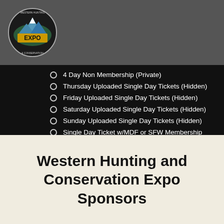[Figure (logo): Western Hunting and Conservation Expo circular logo with mountain and EXPO text]
4 Day Non Membership (Private)
Thursday Uploaded Single Day Tickets (Hidden)
Friday Uploaded Single Day Tickets (Hidden)
Saturday Uploaded Single Day Tickets (Hidden)
Sunday Uploaded Single Day Tickets (Hidden)
Single Day Ticket w/MDF or SFW Membership
...Show All Categories
Western Hunting and Conservation Expo Sponsors